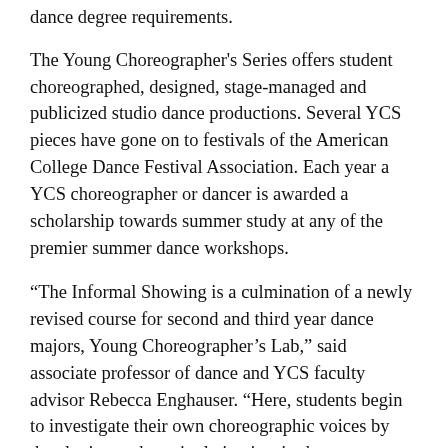dance degree requirements.
The Young Choreographer's Series offers student choreographed, designed, stage-managed and publicized studio dance productions. Several YCS pieces have gone on to festivals of the American College Dance Festival Association. Each year a YCS choreographer or dancer is awarded a scholarship towards summer study at any of the premier summer dance workshops.
“The Informal Showing is a culmination of a newly revised course for second and third year dance majors, Young Choreographer’s Lab,” said associate professor of dance and YCS faculty advisor Rebecca Enghauser. “Here, students begin to investigate their own choreographic voices by developing and manipulating inspired movements which then fuel the translation of ideas into a cohesive, aesthetic whole.”
General admission tickets to the performances are $5 for students/seniors and $7 for adults and can be purchased